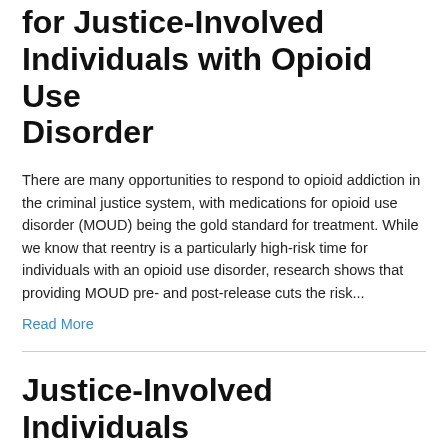for Justice-Involved Individuals with Opioid Use Disorder
There are many opportunities to respond to opioid addiction in the criminal justice system, with medications for opioid use disorder (MOUD) being the gold standard for treatment. While we know that reentry is a particularly high-risk time for individuals with an opioid use disorder, research shows that providing MOUD pre- and post-release cuts the risk...
Read More
Justice-Involved Individuals Returning to the Community